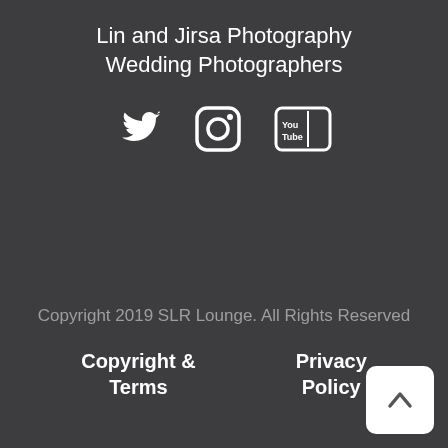Lin and Jirsa Photography
Wedding Photographers
[Figure (infographic): Social media icons: Twitter bird icon, Instagram camera icon, YouTube logo icon]
Copyright 2019 SLR Lounge. All Rights Reserved
Copyright & Terms
Privacy Policy